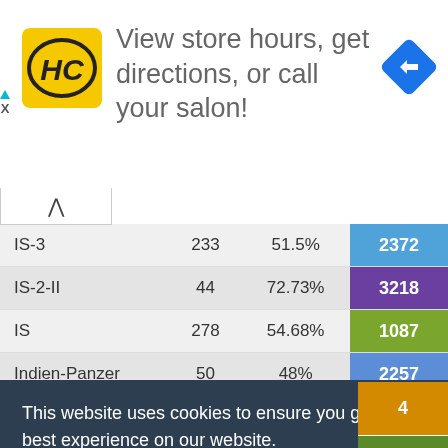[Figure (screenshot): Advertisement banner for HC salon with logo, text 'View store hours, get directions, or call your salon!', and navigation icon]
| Tank | Battles | Win Rate | Avg DMG |
| --- | --- | --- | --- |
| IS-3 | 233 | 51.5% | 2372 |
| IS-2-II | 44 | 72.73% | 3218 |
| IS | 278 | 54.68% | 1087 |
| Indien-Panzer | 50 | 48% | 2257 |
|  |  |  | 4 |
|  |  |  | 62 |
|  |  |  | 87 |
|  |  |  | 11 |
|  |  |  | 72 |
|  |  |  | 74 |
This website uses cookies to ensure you get the best experience on our website.
Learn more
Got it!